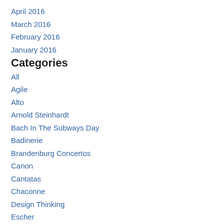April 2016
March 2016
February 2016
January 2016
Categories
All
Agile
Alto
Arnold Steinhardt
Bach In The Subways Day
Badinerie
Brandenburg Concertos
Canon
Cantatas
Chaconne
Design Thinking
Escher
Fugue
Goldberg
Jacques Loussier